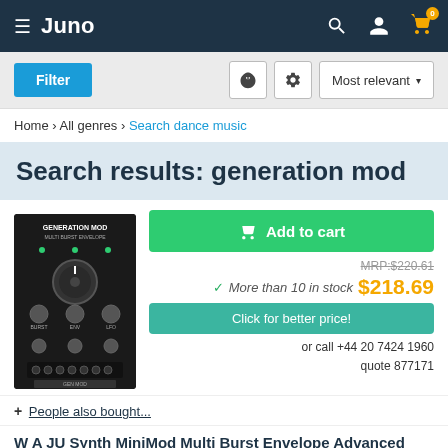Juno
Filter | Most relevant
Home › All genres › Search dance music
Search results: generation mod
[Figure (photo): Photo of a synthesizer module – Generation MOD Eurorack modular synthesizer unit with black panel and knobs]
Add to cart
MRP: $220.61
✓ More than 10 in stock  $218.69
Click for better price!
or call +44 20 7424 1960
quote 877171
+ People also bought...
W A JU Synth MiniMod Multi Burst Envelope Advanced